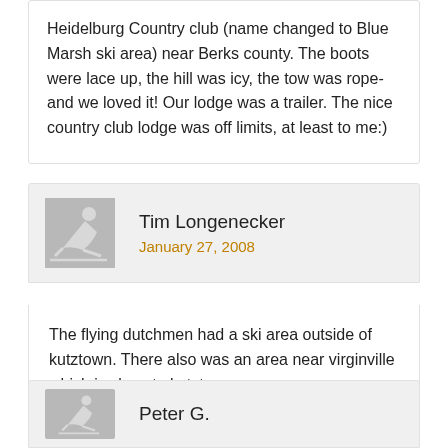Heidelburg Country club (name changed to Blue Marsh ski area) near Berks county. The boots were lace up, the hill was icy, the tow was rope- and we loved it! Our lodge was a trailer. The nice country club lodge was off limits, at least to me:)
Tim Longenecker
January 27, 2008
The flying dutchmen had a ski area outside of kutztown. There also was an area near virginville which is close to kutztown.
Peter G.